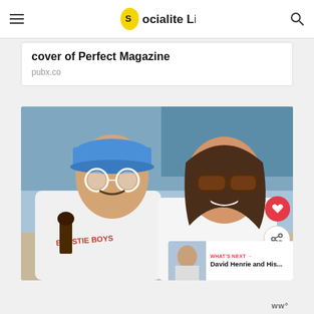Socialite Life
cover of Perfect Magazine
pubx.co
[Figure (photo): A man wearing a blue cap and white round sunglasses and a woman wearing brown tinted sunglasses, both smiling outdoors. The man is wearing a Beastie Boys t-shirt.]
WHAT'S NEXT → David Henrie and His...
ww°